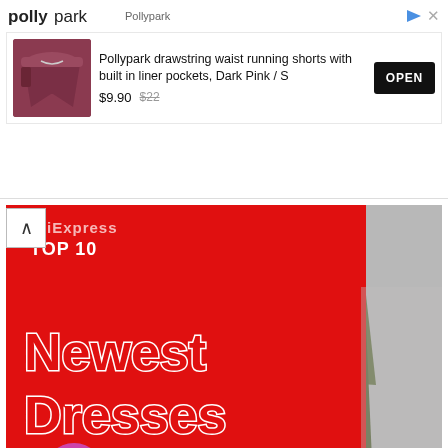[Figure (screenshot): Pollypark advertisement banner showing running shorts product with price $9.90 (was $22) and an OPEN button]
[Figure (photo): AliExpress Top 10 Newest Dresses thumbnail showing two women in formal dresses with red graphic overlay. Stats: 61 views, 0 retweets, 147 shares. Vizyco badge visible.]
ALIEXPRESS-TOP10  WOMEN'S CLOTHING  ALIEXPRESS  CLOTHING  LONG DRESSES  NEW 2022  NEWEST DRESSES  SUMMER DRESSES  TOP 10  TOP10  WOMEN  WOMEN CLOTHING
Newest Dresses Top 10 on AliExpre